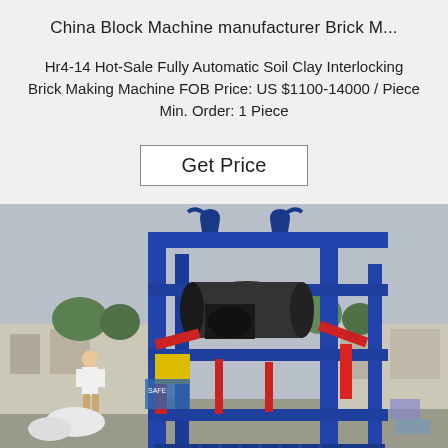China Block Machine manufacturer Brick M...
Hr4-14 Hot-Sale Fully Automatic Soil Clay Interlocking Brick Making Machine FOB Price: US $1100-14000 / Piece Min. Order: 1 Piece
Get Price
[Figure (photo): A large blue and red interlocking brick making machine (Hr4-14) photographed outdoors in a factory yard. The machine has a tall blue steel frame structure with red mechanical components and a black motor/roller visible inside. A person in white shirt stands to the left. Industrial buildings visible in background.]